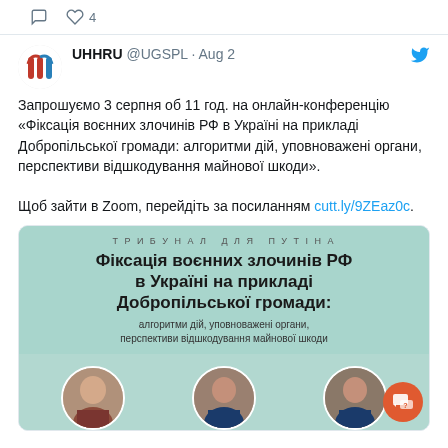[Figure (screenshot): Twitter/social media action bar with comment and heart (4 likes) icons]
[Figure (screenshot): UHHRU (@UGSPL) Twitter profile avatar — stylized red and blue Ukrainian logo on white background]
UHHRU @UGSPL · Aug 2
Запрошуємо 3 серпня об 11 год. на онлайн-конференцію «Фіксація воєнних злочинів РФ в Україні на прикладі Добропільської громади: алгоритми дій, уповноважені органи, перспективи відшкодування майнової шкоди».

Щоб зайти в Zoom, перейдіть за посиланням cutt.ly/9ZEaz0c.
[Figure (infographic): Event promotional banner with light teal/mint background. Top text: ТРИБУНАЛ ДЛЯ ПУТІНА. Large bold title: Фіксація воєнних злочинів РФ в Україні на прикладі Добропільської громади:. Smaller text: алгоритми дій, уповноважені органи, перспективи відшкодування майнової шкоди. Three circular portrait photos of speakers at the bottom. Orange chat bubble icon with question mark in lower right.]